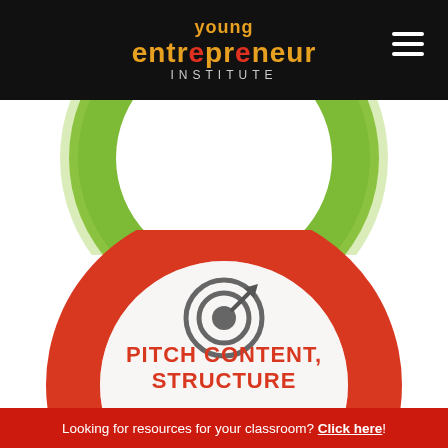young entrepreneur INSTITUTE
[Figure (illustration): Green donut/ring shape partially visible at top of page, above a red/orange donut ring containing a target/bullseye icon with arrow and text 'PITCH CONTENT, STRUCTURE']
Looking for resources for your classroom? Click here!